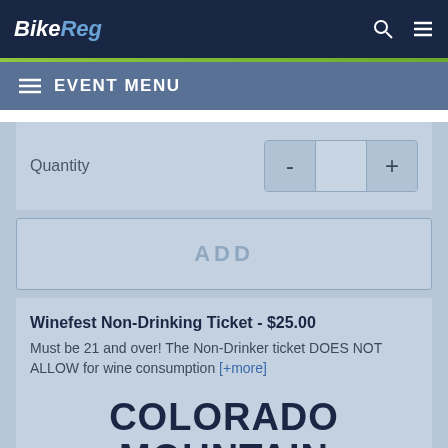BikeReg
EVENT MENU
Quantity
ADD
Winefest Non-Drinking Ticket - $25.00
Must be 21 and over! The Non-Drinker ticket DOES NOT ALLOW for wine consumption [+more]
[Figure (logo): Colorado Mountain logo/text showing COLORADO MOUNTAIN in bold dark navy letters]